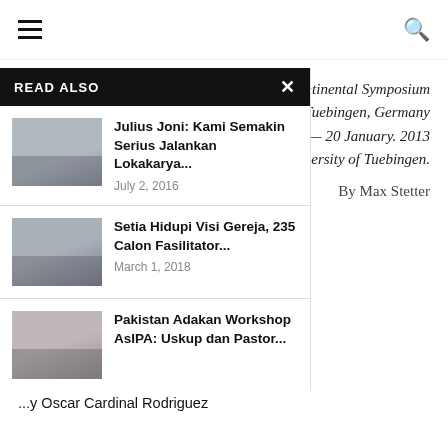☰  🔍
Report on the Intercontinental Symposium
Tuebingen, Germany
17 — 20 January. 2013
...and the University of Tuebingen.
By Max Stetter
...to the cry of the poor in Latin ...ho stands for dialogue and ...ntinent of Asia. We have met ...d visits homes in Africa. We ...estions and faces challenges ...s, Estela Padilla from the ...posium in her sermon in St. ...ebingen during the closing ...y Oscar Cardinal Rodriguez
READ ALSO
[Figure (photo): Group photo thumbnail for Julius Joni article]
Julius Joni: Kami Semakin Serius Jalankan Lokakarya...
July 2, 2016
[Figure (photo): Group photo thumbnail for Setia Hidupi Visi Gereja article]
Setia Hidupi Visi Gereja, 235 Calon Fasilitator...
March 1, 2018
[Figure (photo): Group photo thumbnail for Pakistan Adakan Workshop AsIPA article]
Pakistan Adakan Workshop AsIPA: Uskup dan Pastor...